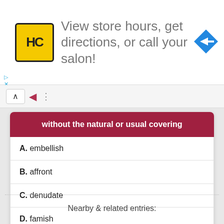[Figure (screenshot): Advertisement banner with HC logo (yellow square with black border), text 'View store hours, get directions, or call your salon!' and a blue diamond arrow icon on the right]
without the natural or usual covering
A. embellish
B. affront
C. denudate
D. famish
Nearby & related entries: